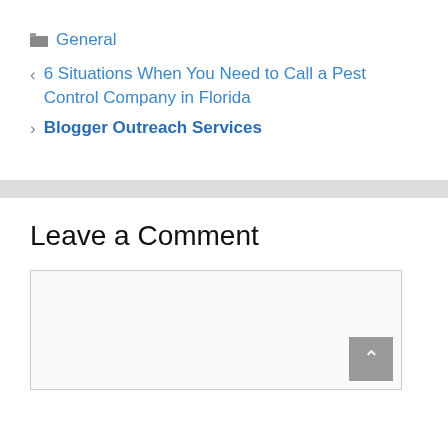General
6 Situations When You Need to Call a Pest Control Company in Florida
Blogger Outreach Services
Leave a Comment